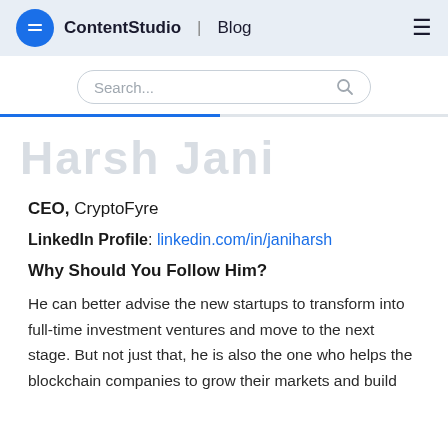ContentStudio | Blog
[Figure (screenshot): Search bar with placeholder text 'Search...' and a search icon, with a blue progress bar below]
[Figure (illustration): Large faded/watermark style title text in light gray]
CEO, CryptoFyre
LinkedIn Profile: linkedin.com/in/janiharsh
Why Should You Follow Him?
He can better advise the new startups to transform into full-time investment ventures and move to the next stage. But not just that, he is also the one who helps the blockchain companies to grow their markets and build